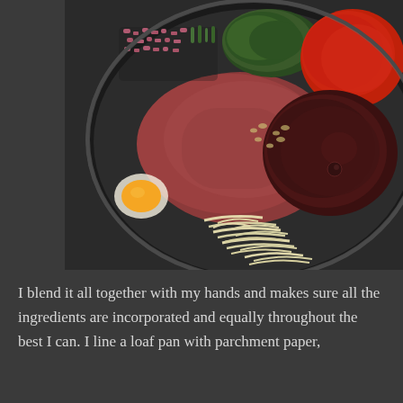[Figure (photo): A glass mixing bowl on a dark surface containing raw ground meat surrounded by various meatloaf ingredients arranged around the edges: chopped red onion, green onions, fresh herbs, red spice (paprika), dark sauce (barbecue sauce), shredded cheese, and a raw egg yolk.]
I blend it all together with my hands and makes sure all the ingredients are incorporated and equally throughout the best I can. I line a loaf pan with parchment paper,